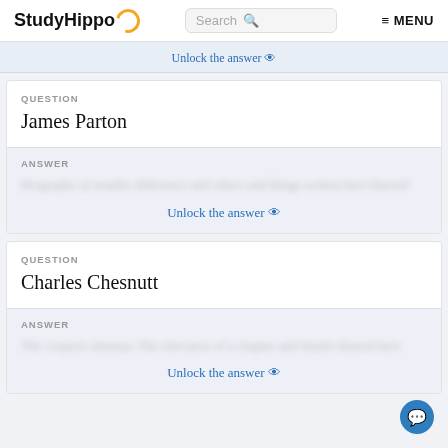StudyHippo | Search | MENU
Unlock the answer
QUESTION
James Parton
ANSWER
[blurred answer text]
Unlock the answer
QUESTION
Charles Chesnutt
ANSWER
[blurred answer text]
Unlock the answer